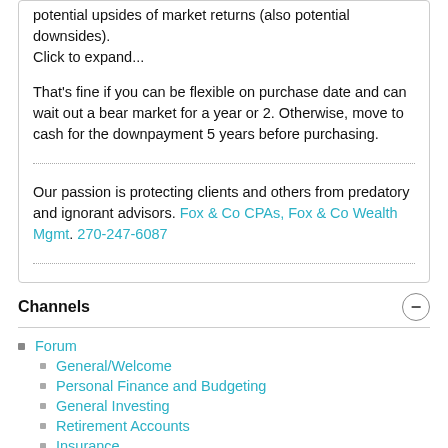potential upsides of market returns (also potential downsides).
Click to expand...
That's fine if you can be flexible on purchase date and can wait out a bear market for a year or 2. Otherwise, move to cash for the downpayment 5 years before purchasing.
Our passion is protecting clients and others from predatory and ignorant advisors. Fox & Co CPAs, Fox & Co Wealth Mgmt. 270-247-6087
Channels
Forum
General/Welcome
Personal Finance and Budgeting
General Investing
Retirement Accounts
Insurance